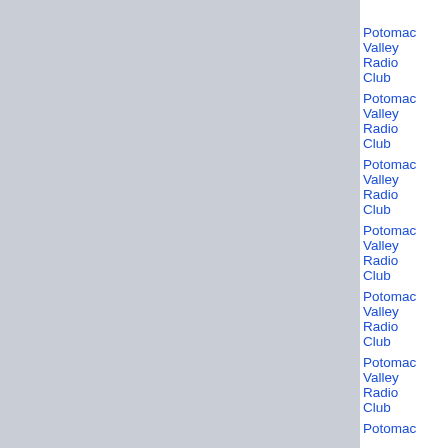| Club | Date/Time | Distance | Location/Info |
| --- | --- | --- | --- |
| Potomac Valley Radio Club | 2020-11-21 02:24:38 | 175 mile circle | FM17bk AJ1M FM... |
| Potomac Valley Radio Club | 2020-11-07 00:38:13 | 175 mile circle | FM17bk AJ1M FM... |
| Potomac Valley Radio Club | 2020-11-01 14:00:01 | 175 mile circle | FM17bk AJ1M FM... |
| Potomac Valley Radio Club | 2020-06-13 15:56:31 | 175 mile circle | FM08vb AJ1M FM... |
| Potomac Valley Radio Club | 2020-06-13 15:54:59 | 175 mile circle | FM08bk AJ1M FM... |
| Potomac Valley Radio Club | 2020-06-13 15:54:02 | 175 mile circle | FM17bk AJ1M FM... |
| Potomac Valley Radio Club | 2020-05-... | 175 mile circle | FM08vb AJ1M FM... |